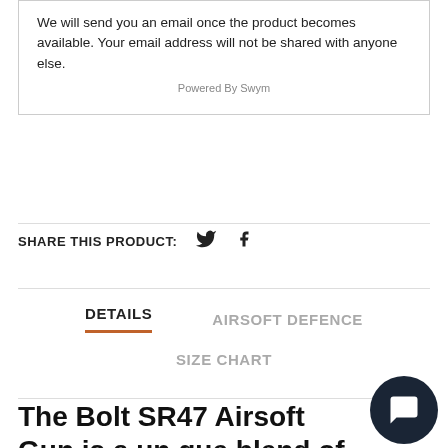We will send you an email once the product becomes available. Your email address will not be shared with anyone else.
Powered By Swym
SHARE THIS PRODUCT:
DETAILS
AIRSOFT DEFENCE
SIZE CHART
The Bolt SR47 Airsoft Gun is a unique blend of the AK and AR platforms, giving you all the benefits of an AR based...